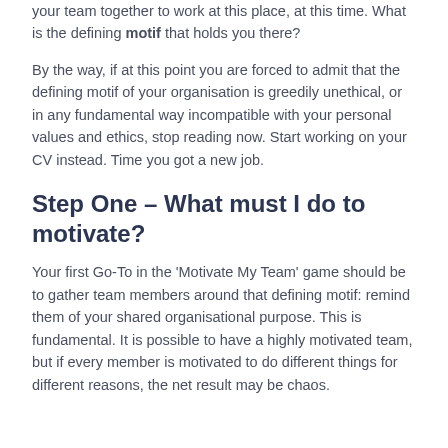your team together to work at this place, at this time. What is the defining motif that holds you there?
By the way, if at this point you are forced to admit that the defining motif of your organisation is greedily unethical, or in any fundamental way incompatible with your personal values and ethics, stop reading now. Start working on your CV instead. Time you got a new job.
Step One – What must I do to motivate?
Your first Go-To in the 'Motivate My Team' game should be to gather team members around that defining motif: remind them of your shared organisational purpose. This is fundamental. It is possible to have a highly motivated team, but if every member is motivated to do different things for different reasons, the net result may be chaos.